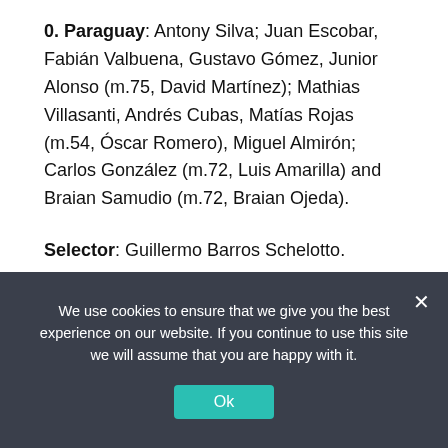0. Paraguay: Antony Silva; Juan Escobar, Fabián Valbuena, Gustavo Gómez, Junior Alonso (m.75, David Martínez); Mathias Villasanti, Andrés Cubas, Matías Rojas (m.54, Óscar Romero), Miguel Almirón; Carlos González (m.72, Luis Amarilla) and Braian Samudio (m.72, Braian Ojeda).
Selector: Guillermo Barros Schelotto.
Referee: the Argentine Facundo Tello. He sent off Cubas for a double yellow at minute 84 and admonished
We use cookies to ensure that we give you the best experience on our website. If you continue to use this site we will assume that you are happy with it.